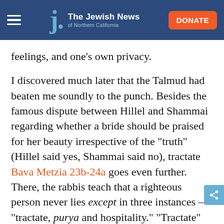The Jewish News of Northern California
feelings, and one’s own privacy.
I discovered much later that the Talmud had beaten me soundly to the punch. Besides the famous dispute between Hillel and Shammai regarding whether a bride should be praised for her beauty irrespective of the “truth” (Hillel said yes, Shammai said no), tractate Bava Metzia 23b-24a goes even further. There, the rabbis teach that a righteous person never lies except in three instances — “tractate, purya and hospitality.” “Tractate” suggests that a modest scholar may claim unfamiliarity with a text so as not to boast